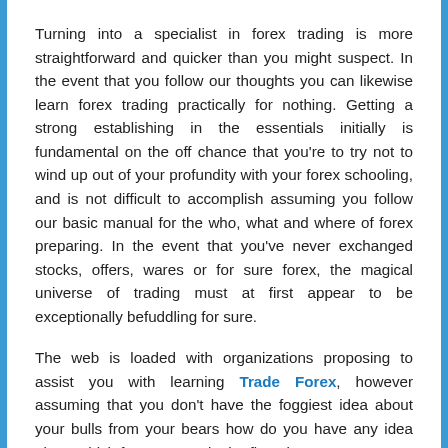Turning into a specialist in forex trading is more straightforward and quicker than you might suspect. In the event that you follow our thoughts you can likewise learn forex trading practically for nothing. Getting a strong establishing in the essentials initially is fundamental on the off chance that you're to try not to wind up out of your profundity with your forex schooling, and is not difficult to accomplish assuming you follow our basic manual for the who, what and where of forex preparing. In the event that you've never exchanged stocks, offers, wares or for sure forex, the magical universe of trading must at first appear to be exceptionally befuddling for sure.
The web is loaded with organizations proposing to assist you with learning Trade Forex, however assuming that you don't have the foggiest idea about your bulls from your bears how do you have any idea about which forex course in the first place?